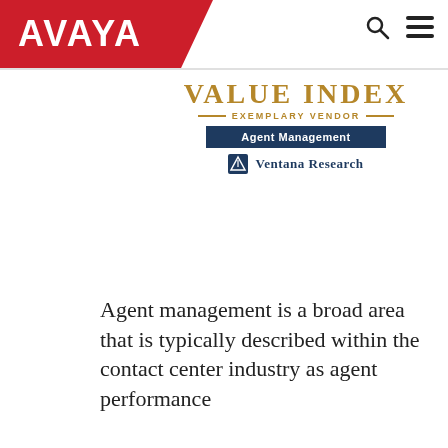AVAYA
[Figure (logo): Avaya logo in white text on red angled background banner, with search and hamburger menu icons on the right]
[Figure (logo): VALUE INDEX EXEMPLARY VENDOR badge with Agent Management label in navy bar and Ventana Research branding below]
Agent management is a broad area that is typically described within the contact center industry as agent performance